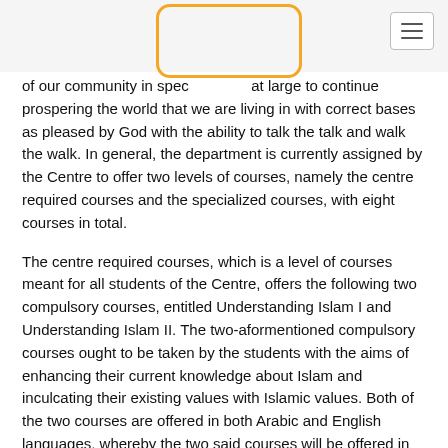of our community in spec... at large to continue prospering the world that we are living in with correct bases as pleased by God with the ability to talk the talk and walk the walk. In general, the department is currently assigned by the Centre to offer two levels of courses, namely the centre required courses and the specialized courses, with eight courses in total.
The centre required courses, which is a level of courses meant for all students of the Centre, offers the following two compulsory courses, entitled Understanding Islam I and Understanding Islam II. The two-aformentioned compulsory courses ought to be taken by the students with the aims of enhancing their current knowledge about Islam and inculcating their existing values with Islamic values. Both of the two courses are offered in both Arabic and English languages, whereby the two said courses will be offered in Arabic to students with Arabic Language based programme (i.e BAR and ARCOMM students), so as in English to students with English Language based programme (e.g. HS, BEN, and LAW students). Nevertheless IRK students will have English as their medium of interaction for these two said courses as the Centre aims to equip them with language skills in both Arabic & English.